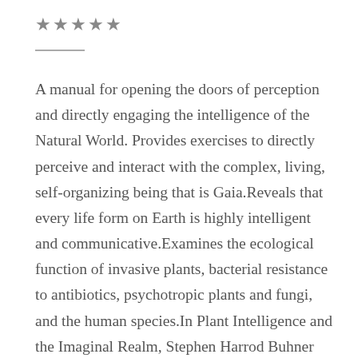[Figure (other): Five star rating symbols in gray]
A manual for opening the doors of perception and directly engaging the intelligence of the Natural World. Provides exercises to directly perceive and interact with the complex, living, self-organizing being that is Gaia.Reveals that every life form on Earth is highly intelligent and communicative.Examines the ecological function of invasive plants, bacterial resistance to antibiotics, psychotropic plants and fungi, and the human species.In Plant Intelligence and the Imaginal Realm, Stephen Harrod Buhner reveals that all life forms on Earth possess intelligence, language, a